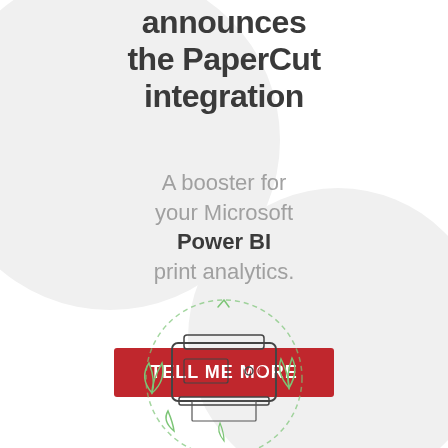announces the PaperCut integration
A booster for your Microsoft Power BI print analytics.
TELL ME MORE
[Figure (illustration): Line drawing illustration of a printer/copier with paper and green dashed circular arrows around it, suggesting print analytics integration]